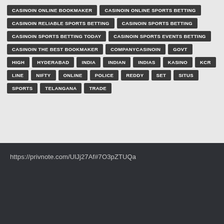CASINOIN ONLINE BOOKMAKER
CASINOIN ONLINE SPORTS BETTING
CASINOIN RELIABLE SPORTS BETTING
CASINOIN SPORTS BETTING
CASINOIN SPORTS BETTING TODAY
CASINOIN SPORTS EVENTS BETTING
CASINOIN THE BEST BOOKMAKER
COMPANYCASINOIN
GOVT
HIGH
HYDERABAD
INDIA
INDIAN
INDIAS
KASINO
KCR
LINE
NIFTY
ONLINE
POLICE
REDDY
SET
SITUS
SPORTS
TELANGANA
TRADE
https://privnote.com/UlJj27Af#7O3pZTUQa
Copyright © 2022 itswapsite